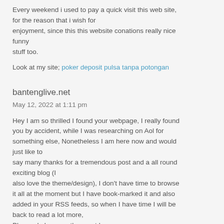Every weekend i used to pay a quick visit this web site, for the reason that i wish for enjoyment, since this this website conations really nice funny stuff too.
Look at my site; poker deposit pulsa tanpa potongan
bantenglive.net
May 12, 2022 at 1:11 pm
Hey I am so thrilled I found your webpage, I really found you by accident, while I was researching on Aol for something else, Nonetheless I am here now and would just like to say many thanks for a tremendous post and a all round exciting blog (I also love the theme/design), I don't have time to browse it all at the moment but I have book-marked it and also added in your RSS feeds, so when I have time I will be back to read a lot more, Please do keep up the great b.